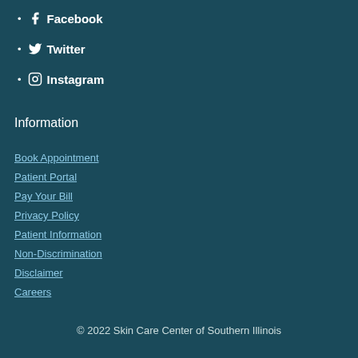Facebook
Twitter
Instagram
Information
Book Appointment
Patient Portal
Pay Your Bill
Privacy Policy
Patient Information
Non-Discrimination
Disclaimer
Careers
© 2022 Skin Care Center of Southern Illinois